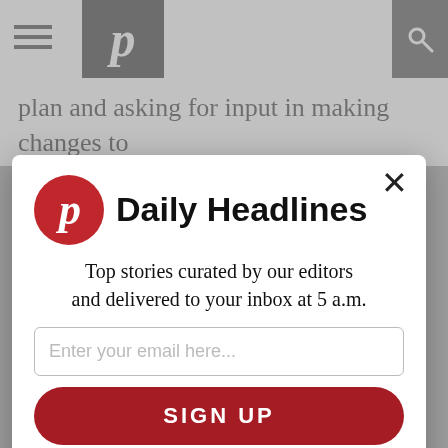P — Pittsburgh Post-Gazette header bar with hamburger menu and search icon
plan and asking for input in making changes to
[Figure (screenshot): Newsletter signup modal overlay for 'Daily Headlines' — showing a red circular logo with stylized P, bold 'Daily Headlines' heading, subtitle 'Top stories curated by our editors and delivered to your inbox at 5 a.m.', email input field, red SIGN UP button, and NO THANKS link]
NO THANKS